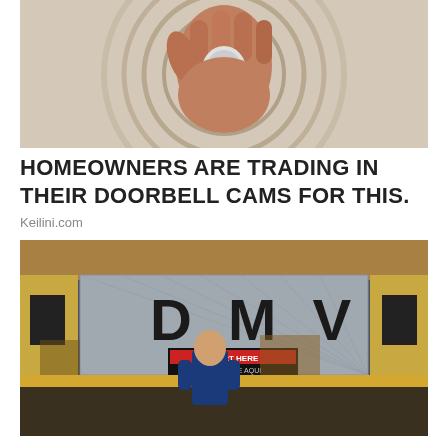[Figure (photo): Close-up of a hand holding a small circular device (doorbell camera) against a textured woven background]
HOMEOWNERS ARE TRADING IN THEIR DOORBELL CAMS FOR THIS.
Keilini.com
[Figure (photo): Interior of a DMV office with large 'D M V' letters on a metallic wall, a sign reading 'START HERE / COMIENCE AQUI', and a person standing at the counter viewed from behind]
VIRGINIA LAUNCHES NEW POLICY FOR CARS USED LESS THAN 50 MILES/DAY